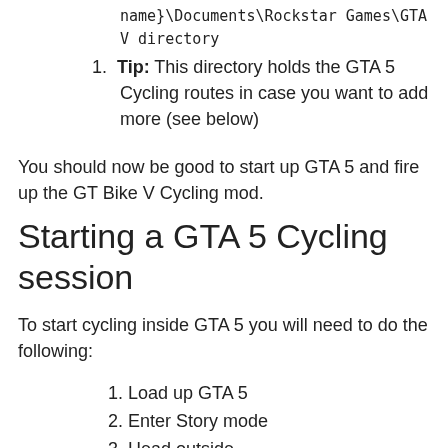name}\Documents\Rockstar Games\GTA V directory
Tip: This directory holds the GTA 5 Cycling routes in case you want to add more (see below)
You should now be good to start up GTA 5 and fire up the GT Bike V Cycling mod.
Starting a GTA 5 Cycling session
To start cycling inside GTA 5 you will need to do the following:
Load up GTA 5
Enter Story mode
Head outside…